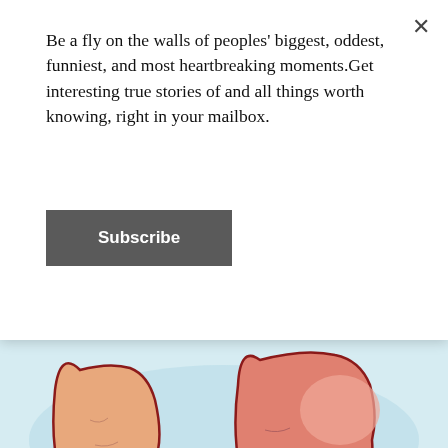Be a fly on the walls of peoples' biggest, oddest, funniest, and most heartbreaking moments.Get interesting true stories of and all things worth knowing, right in your mailbox.
[Figure (illustration): Illustration of two feet viewed from above on a light blue background, with the right foot shown reddened/swollen compared to the normal left foot]
Warning Signs of Amyloidosis Shouldn't Be Ignored.
Amyloidosis
[Figure (photo): Partial photo at the bottom showing what appears to be sand/stone surface with a circular metal ring/handle visible]